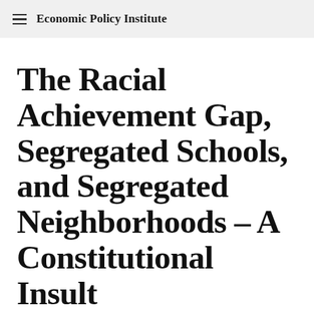Economic Policy Institute
The Racial Achievement Gap, Segregated Schools, and Segregated Neighborhoods – A Constitutional Insult
Commentary · By Richard Rothstein · November 12, 2014